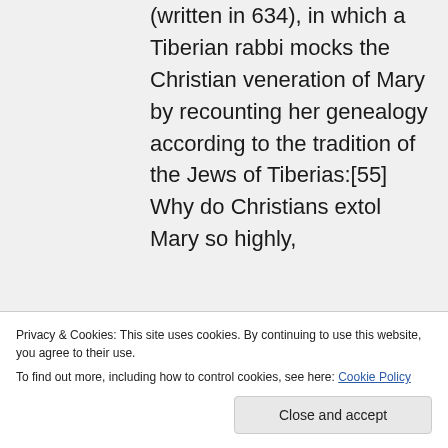(written in 634), in which a Tiberian rabbi mocks the Christian veneration of Mary by recounting her genealogy according to the tradition of the Jews of Tiberias:[55] Why do Christians extol Mary so highly,
Privacy & Cookies: This site uses cookies. By continuing to use this website, you agree to their use.
To find out more, including how to control cookies, see here: Cookie Policy